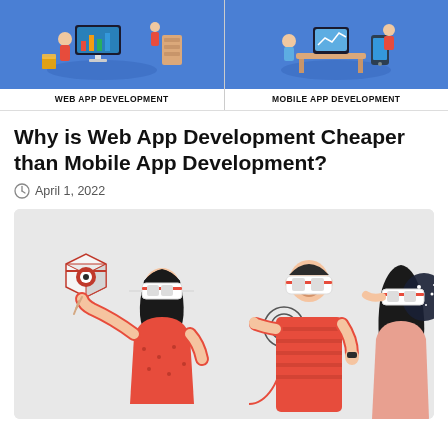[Figure (illustration): Top banner split into two halves: left shows 'WEB APP DEVELOPMENT' isometric illustration on blue background, right shows 'MOBILE APP DEVELOPMENT' isometric illustration on blue background]
Why is Web App Development Cheaper than Mobile App Development?
April 1, 2022
[Figure (illustration): Flat illustration on light grey background showing three people wearing VR headsets in coral/red outfits, with a floating cube/VR device on the left]